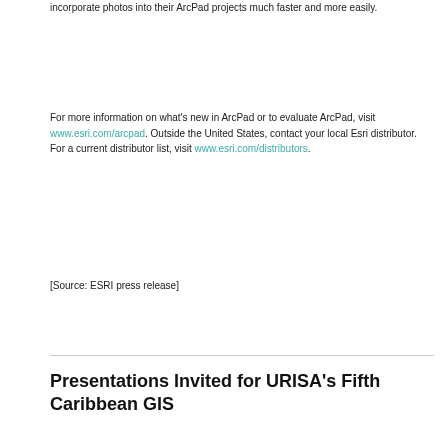incorporate photos into their ArcPad projects much faster and more easily.
For more information on what's new in ArcPad or to evaluate ArcPad, visit www.esri.com/arcpad. Outside the United States, contact your local Esri distributor. For a current distributor list, visit www.esri.com/distributors.
[Source: ESRI press release]
Presentations Invited for URISA's Fifth Caribbean GIS